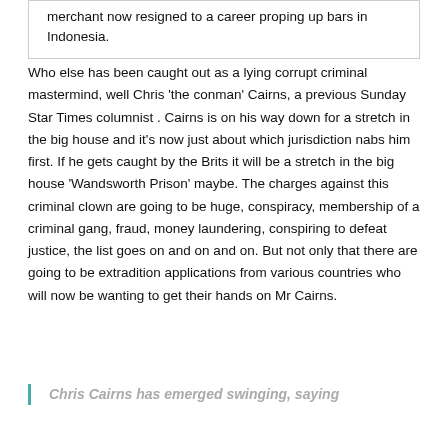merchant now resigned to a career proping up bars in Indonesia.
Who else has been caught out as a lying corrupt criminal mastermind, well Chris 'the conman' Cairns, a previous Sunday Star Times columnist . Cairns is on his way down for a stretch in the big house and it's now just about which jurisdiction nabs him first. If he gets caught by the Brits it will be a stretch in the big house 'Wandsworth Prison' maybe. The charges against this criminal clown are going to be huge, conspiracy, membership of a criminal gang, fraud, money laundering, conspiring to defeat justice, the list goes on and on and on. But not only that there are going to be extradition applications from various countries who will now be wanting to get their hands on Mr Cairns.
Chris Cairns has emerged swinging, saying